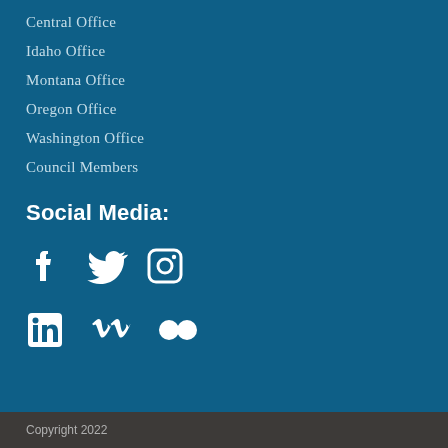Central Office
Idaho Office
Montana Office
Oregon Office
Washington Office
Council Members
Social Media:
[Figure (other): Social media icons: Facebook, Twitter, Instagram, LinkedIn, Vimeo, Flickr]
Copyright 2022